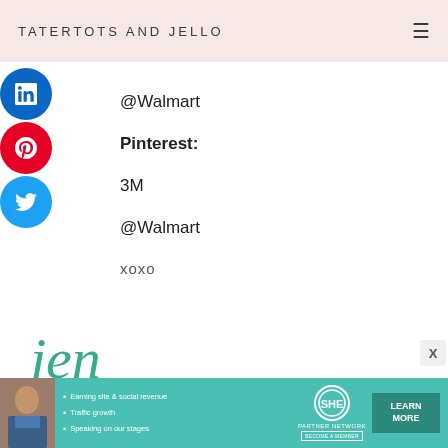TATERTOTS AND JELLO
@Walmart
Pinterest:
3M
@Walmart
xoxo
[Figure (illustration): Cursive 'jen' signature in teal/green color]
• Earning site & social revenue • Traffic growth • Speaking on our stages | SHE PARTNER NETWORK BECOME A MEMBER | LEARN MORE